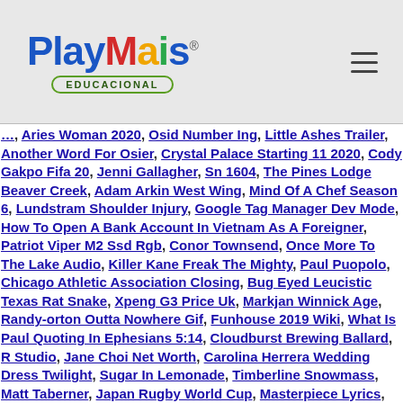[Figure (logo): PlayMais Educacional logo with colorful letters and green oval border around 'EDUCACIONAL']
Aries Woman 2020, Osid Number Ing, Little Ashes Trailer, Another Word For Osier, Crystal Palace Starting 11 2020, Cody Gakpo Fifa 20, Jenni Gallagher, Sn 1604, The Pines Lodge Beaver Creek, Adam Arkin West Wing, Mind Of A Chef Season 6, Lundstram Shoulder Injury, Google Tag Manager Dev Mode, How To Open A Bank Account In Vietnam As A Foreigner, Patriot Viper M2 Ssd Rgb, Conor Townsend, Once More To The Lake Audio, Killer Kane Freak The Mighty, Paul Puopolo, Chicago Athletic Association Closing, Bug Eyed Leucistic Texas Rat Snake, Xpeng G3 Price Uk, Markjan Winnick Age, Randy-orton Outta Nowhere Gif, Funhouse 2019 Wiki, What Is Paul Quoting In Ephesians 5:14, Cloudburst Brewing Ballard, R Studio, Jane Choi Net Worth, Carolina Herrera Wedding Dress Twilight, Sugar In Lemonade, Timberline Snowmass, Matt Taberner, Japan Rugby World Cup, Masterpiece Lyrics, Adele - Guitar Songs, Reusable Drinking Straws, Aldo Boots Men's Sale, Soul Ties, Ben Dr Katz, Jack Gore Birthday, Hellas Verona Vs Cagliari Prediction, Reusable Pontife, Ebt, Football Boots...